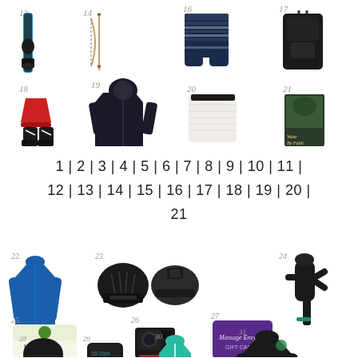[Figure (illustration): Grid of numbered product images (items 13-21): wakeboard with boots, bow/arrow, snowplow blade attachment, boardshorts, dark backpack/bag, red bucket/boots/shoes, black rain jacket, white sherpa blanket, and Wake By Faith book/DVD]
1 | 2 | 3 | 4 | 5 | 6 | 7 | 8 | 9 | 10 | 11 | 12 | 13 | 14 | 15 | 16 | 17 | 18 | 19 | 20 | 21
[Figure (illustration): Grid of numbered product images (items 22-31): blue long-sleeve rash guard, black water helmet, GoPro camera mount hat, massage gun device, HelloFresh gift card, GoPro camera, Massage Envy gift card, black beanie, underwater camera housing, teal life vest, black long-sleeve shirt]